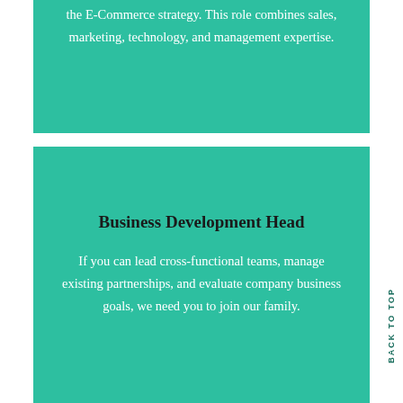the E-Commerce strategy. This role combines sales, marketing, technology, and management expertise.
Business Development Head
If you can lead cross-functional teams, manage existing partnerships, and evaluate company business goals, we need you to join our family.